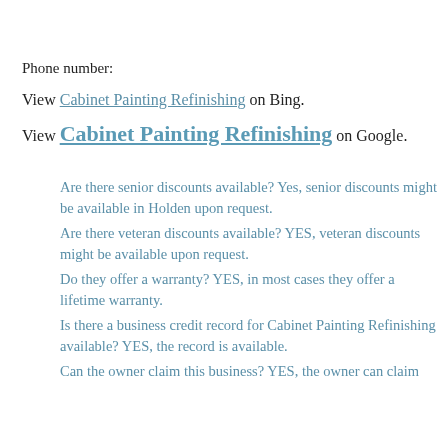Phone number:
View Cabinet Painting Refinishing on Bing.
View Cabinet Painting Refinishing on Google.
Are there senior discounts available? Yes, senior discounts might be available in Holden upon request.
Are there veteran discounts available? YES, veteran discounts might be available upon request.
Do they offer a warranty? YES, in most cases they offer a lifetime warranty.
Is there a business credit record for Cabinet Painting Refinishing available? YES, the record is available.
Can the owner claim this business? YES, the owner can claim